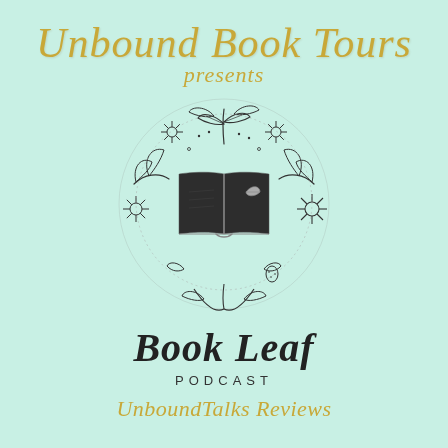Unbound Book Tours presents
[Figure (logo): Circular floral wreath illustration with an open book at the center. The book is dark/black and has a small leaf on the right page. The wreath is made of hand-drawn botanical elements including leaves, flowers (daisies), berries, and stems, all in dark ink outline style on mint/light green background.]
Book Leaf
PODCAST
UnboundTalks Reviews